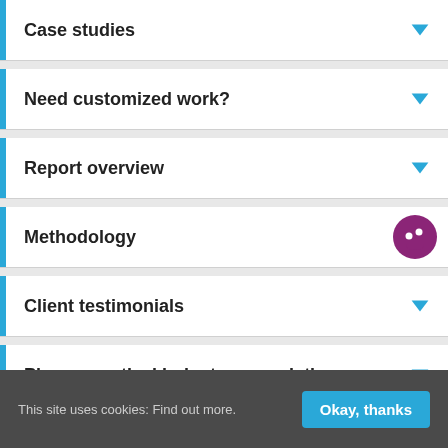Case studies
Need customized work?
Report overview
Methodology
Client testimonials
Pharmaceutical industry associations
This site uses cookies: Find out more.